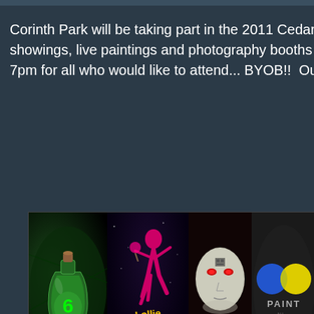Corinth Park will be taking part in the 2011 Cedars Open St showings, live paintings and photography booths during the 7pm for all who would like to attend... BYOB!!  Our addres
[Figure (illustration): A banner image showing four sections: a green glowing potion bottle with the number 6, a magenta dancing figure with 'Lollie Bombs' text in yellow, a face with a mask labeled 'Stephen', and blue and yellow circles with 'PAINT' text.]